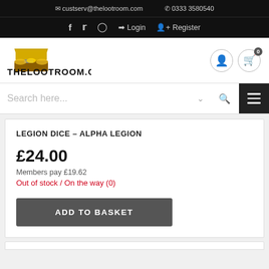custserv@thelootroom.com   0333 3580540
f  Twitter  Instagram  Login  Register
[Figure (logo): The Loot Room .com logo with treasure chest graphic]
Search here...
LEGION DICE – ALPHA LEGION
£24.00
Members pay £19.62
Out of stock / On the way (0)
ADD TO BASKET